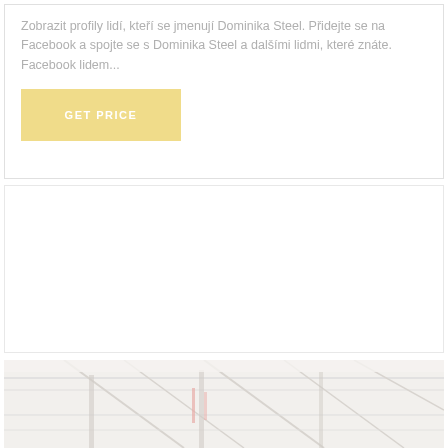Zobrazit profily lidí, kteří se jmenují Dominika Steel. Přidejte se na Facebook a spojte se s Dominika Steel a dalšími lidmi, které znáte. Facebook lidem...
[Figure (other): Yellow 'GET PRICE' button]
[Figure (photo): Faded/washed out photo of industrial factory interior with overhead structures and equipment]